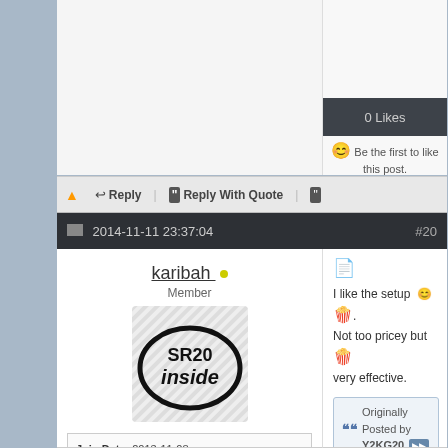[Figure (screenshot): Top portion of a forum post showing a likes button with '0 Likes' and 'Be the first to like this post.' text]
0 Likes
Be the first to like this post.
▲  Reply | Reply With Quote
2014-11-11 23:37:04  #20
karibah
Member
[Figure (logo): SR20 inside logo in the style of Intel Inside sticker]
Join Date: 2013-11-08
Location:
Posts: 403
Trader Score: 1 (100%)
I like the setup 😊. Not too pricey but 🍿 very effective.
Originally Posted by Y2KG20
Here is a current price list of the AEM EMS-4 parts I used for my VE turbo car